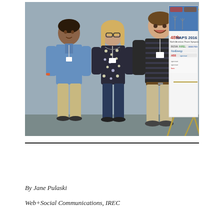[Figure (photo): Three people standing together in front of a NAPS 2016 (48th North American Power Symposium) conference banner at the University of Denver. The banner shows logos including INOVA, INREL, ABB, Xcel Energy, IEEE PES and others. From left: a man in a blue shirt, a woman in a patterned top, and a tall young man in a striped polo shirt.]
By Jane Pulaski
Web+Social Communications, IREC